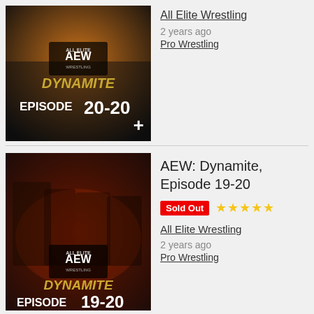[Figure (photo): AEW Dynamite Episode 20-20 DVD/Blu-ray cover art showing a wrestler with the AEW logo and text DYNAMITE EPISODE 20-20 on a dark orange background]
All Elite Wrestling
2 years ago
Pro Wrestling
[Figure (photo): AEW Dynamite Episode 19-20 DVD/Blu-ray cover art showing multiple wrestlers with the AEW logo and text DYNAMITE EPISODE 19-20 on a dark red/orange background]
AEW: Dynamite, Episode 19-20
Sold Out ★★★★★
All Elite Wrestling
2 years ago
Pro Wrestling